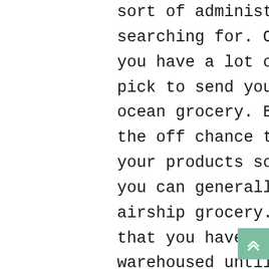sort of administration that they are searching for. On the off chance that you have a lot of free time you can pick to send your merchandise via ocean grocery. Be that as it may, on the off chance that you have to get your products some place quickly, you can generally pick to utilize airship grocery. On the off chance that you have to have your products warehoused until you can get them to their definitive objective, your delivery administrations supplier can do that for you also.